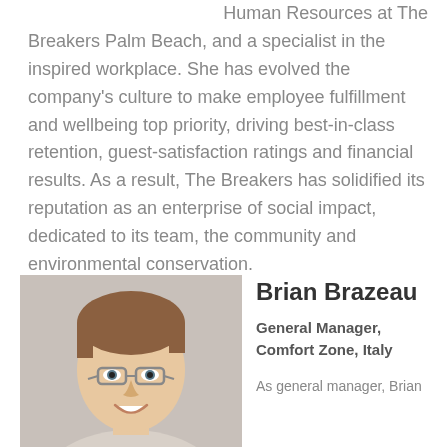Human Resources at The Breakers Palm Beach, and a specialist in the inspired workplace. She has evolved the company's culture to make employee fulfillment and wellbeing top priority, driving best-in-class retention, guest-satisfaction ratings and financial results. As a result, The Breakers has solidified its reputation as an enterprise of social impact, dedicated to its team, the community and environmental conservation.
[Figure (photo): Headshot of Brian Brazeau, a man with short brown hair and glasses, smiling, wearing a light-colored shirt, against a light grey background.]
Brian Brazeau
General Manager, Comfort Zone, Italy
As general manager, Brian